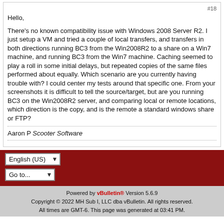Hello,

There's no known compatibility issue with Windows 2008 Server R2. I just setup a VM and tried a couple of local transfers, and transfers in both directions running BC3 from the Win2008R2 to a share on a Win7 machine, and running BC3 from the Win7 machine. Caching seemed to play a roll in some initial delays, but repeated copies of the same files performed about equally. Which scenario are you currently having trouble with? I could center my tests around that specific one. From your screenshots it is difficult to tell the source/target, but are you running BC3 on the Win2008R2 server, and comparing local or remote locations, which direction is the copy, and is the remote a standard windows share or FTP?
Aaron P Scooter Software
Powered by vBulletin® Version 5.6.9
Copyright © 2022 MH Sub I, LLC dba vBulletin. All rights reserved.
All times are GMT-6. This page was generated at 03:41 PM.